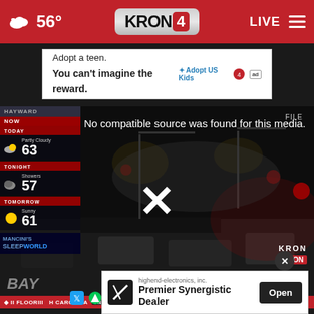56° KRON4 LIVE
[Figure (screenshot): Advertisement banner: Adopt a teen. You can't imagine the reward. AdoptUSKids logo and ad badge.]
[Figure (screenshot): Video player showing nighttime street scene with cars and crowd. Overlay text: No compatible source was found for this media. Large X symbol in center. FILE label top right. KRON ON bug bottom right. Close button.]
No compatible source was found for this media.
FLOORII H CAROLINA ON CONTAINER SHIP STUCK IN MUDDY OM OF CHE
[Figure (screenshot): Advertisement: highend-electronics, inc. Premier Synergistic Dealer. Open button. Synergistic Research logo.]
BAY